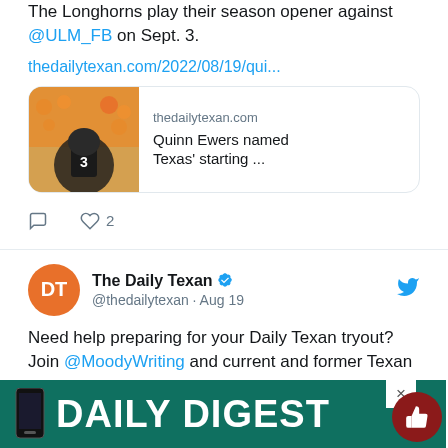The Longhorns play their season opener against @ULM_FB on Sept. 3.
thedailytexan.com/2022/08/19/qui...
[Figure (screenshot): Link preview card for thedailytexan.com article: Quinn Ewers named Texas' starting ...]
Reply and 2 likes
The Daily Texan @thedailytexan · Aug 19
Need help preparing for your Daily Texan tryout? Join @MoodyWriting and current and former Texan staff members for a workshop to help you do your best.
Meet
[Figure (screenshot): Daily Digest banner overlay at bottom of page]